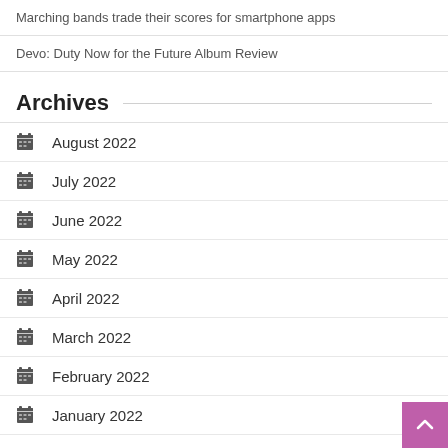Marching bands trade their scores for smartphone apps
Devo: Duty Now for the Future Album Review
Archives
August 2022
July 2022
June 2022
May 2022
April 2022
March 2022
February 2022
January 2022